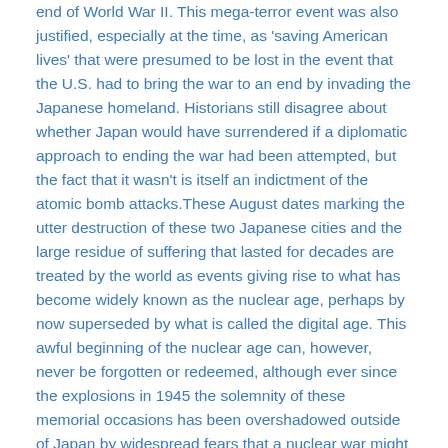end of World War II. This mega-terror event was also justified, especially at the time, as 'saving American lives' that were presumed to be lost in the event that the U.S. had to bring the war to an end by invading the Japanese homeland. Historians still disagree about whether Japan would have surrendered if a diplomatic approach to ending the war had been attempted, but the fact that it wasn't is itself an indictment of the atomic bomb attacks.These August dates marking the utter destruction of these two Japanese cities and the large residue of suffering that lasted for decades are treated by the world as events giving rise to what has become widely known as the nuclear age, perhaps by now superseded by what is called the digital age. This awful beginning of the nuclear age can, however, never be forgotten or redeemed, although ever since the explosions in 1945 the solemnity of these memorial occasions has been overshadowed outside of Japan by widespread fears that a nuclear war might occur at some point and a quiet rage continues to build around the world that the nuclear weapons states, above all the U.S., have stubbornly refused to take steps to fulfill pledges to choose a reliable path to nuclear disarmament in good faith.This pledge was initially a matter of prudent politics and elementary morality. The pledge became legally obligatory in Article VI of the